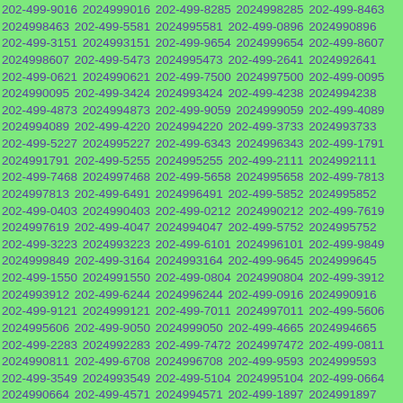202-499-9016 2024999016 202-499-8285 2024998285 202-499-8463 2024998463 202-499-5581 2024995581 202-499-0896 2024990896 202-499-3151 2024993151 202-499-9654 2024999654 202-499-8607 2024998607 202-499-5473 2024995473 202-499-2641 2024992641 202-499-0621 2024990621 202-499-7500 2024997500 202-499-0095 2024990095 202-499-3424 2024993424 202-499-4238 2024994238 202-499-4873 2024994873 202-499-9059 2024999059 202-499-4089 2024994089 202-499-4220 2024994220 202-499-3733 2024993733 202-499-5227 2024995227 202-499-6343 2024996343 202-499-1791 2024991791 202-499-5255 2024995255 202-499-2111 2024992111 202-499-7468 2024997468 202-499-5658 2024995658 202-499-7813 2024997813 202-499-6491 2024996491 202-499-5852 2024995852 202-499-0403 2024990403 202-499-0212 2024990212 202-499-7619 2024997619 202-499-4047 2024994047 202-499-5752 2024995752 202-499-3223 2024993223 202-499-6101 2024996101 202-499-9849 2024999849 202-499-3164 2024993164 202-499-9645 2024999645 202-499-1550 2024991550 202-499-0804 2024990804 202-499-3912 2024993912 202-499-6244 2024996244 202-499-0916 2024990916 202-499-9121 2024999121 202-499-7011 2024997011 202-499-5606 2024995606 202-499-9050 2024999050 202-499-4665 2024994665 202-499-2283 2024992283 202-499-7472 2024997472 202-499-0811 2024990811 202-499-6708 2024996708 202-499-9593 2024999593 202-499-3549 2024993549 202-499-5104 2024995104 202-499-0664 2024990664 202-499-4571 2024994571 202-499-1897 2024991897 202-499-1520 2024991520 202-499-8604 2024998604 202-499-7694